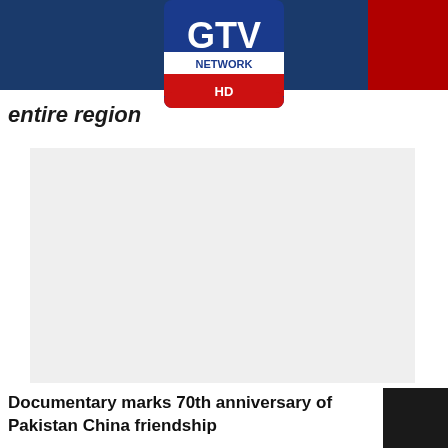GTV NETWORK HD
entire region
[Figure (photo): Placeholder image area, light grey rectangle]
Documentary marks 70th anniversary of Pakistan China friendship